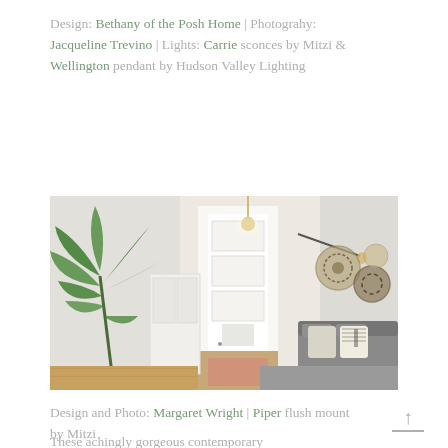Design: Bethany of the Posh Home | Photograhy: Jacqueline Trevino | Lights: Carrie sconces by Mitzi & Wellington pendant by Hudson Valley Lighting
[Figure (photo): Interior living room photo showing a large tropical plant on the left, a white front door with hallway in the center, decorative woven wall plates and a gray sofa with patterned pillows on the right, hardwood floors visible in the hallway with a pink rug.]
Design and Photo: Margaret Wright | Piper flush mount by Mitzi
These achingly gorgeous contemporary